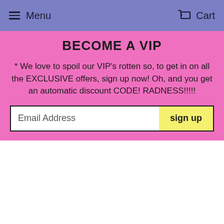Menu  Cart
BECOME A VIP
* We love to spoil our VIP's rotten so, to get in on all the EXCLUSIVE offers, sign up now! Oh, and you get an automatic discount CODE! RADNESS!!!!!
[Figure (screenshot): Email address input field with sign up button]
[Figure (illustration): Retro 90s style illustration with a palm tree, blue star/diamond shape with yellow border, cyan swoosh lines, and pink background at bottom]